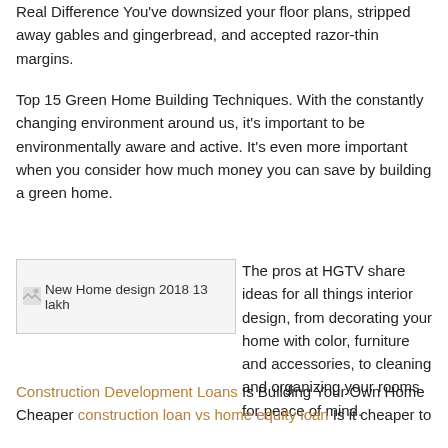Real Difference You've downsized your floor plans, stripped away gables and gingerbread, and accepted razor-thin margins.
Top 15 Green Home Building Techniques. With the constantly changing environment around us, it's important to be environmentally aware and active. It's even more important when you consider how much money you can save by building a green home.
[Figure (photo): New Home design 2018 13 lakh]
The pros at HGTV share ideas for all things interior design, from decorating your home with color, furniture and accessories, to cleaning and organizing your rooms for peace of mind.
Construction Development Loans Is Building Your Own Home Cheaper construction loan vs home equity loan Is it cheaper to